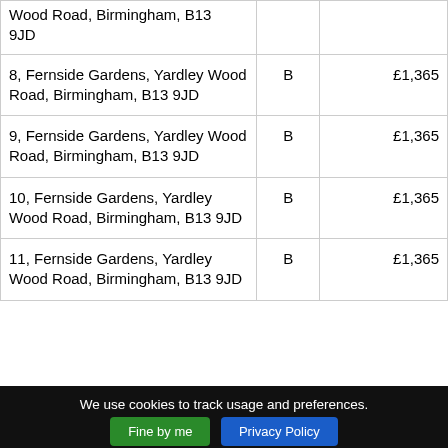| Address | Band | Amount |
| --- | --- | --- |
| Wood Road, Birmingham, B13 9JD |  |  |
| 8, Fernside Gardens, Yardley Wood Road, Birmingham, B13 9JD | B | £1,365 |
| 9, Fernside Gardens, Yardley Wood Road, Birmingham, B13 9JD | B | £1,365 |
| 10, Fernside Gardens, Yardley Wood Road, Birmingham, B13 9JD | B | £1,365 |
| 11, Fernside Gardens, Yardley Wood Road, Birmingham, B13 9JD | B | £1,365 |
We use cookies to track usage and preferences.